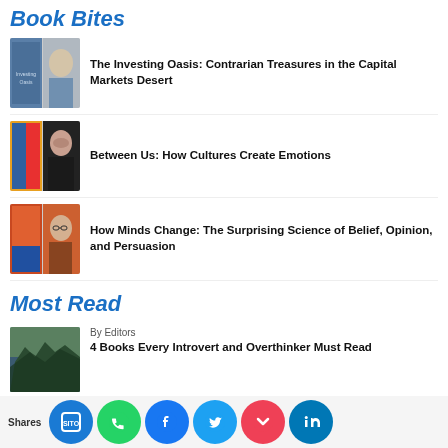Book Bites
[Figure (photo): Author photo and book cover for The Investing Oasis]
The Investing Oasis: Contrarian Treasures in the Capital Markets Desert
[Figure (photo): Author photo and book cover for Between Us: How Cultures Create Emotions]
Between Us: How Cultures Create Emotions
[Figure (photo): Author photo and book cover for How Minds Change]
How Minds Change: The Surprising Science of Belief, Opinion, and Persuasion
Most Read
[Figure (photo): Landscape photo of trees and river for introvert article]
By Editors
4 Books Every Introvert and Overthinker Must Read